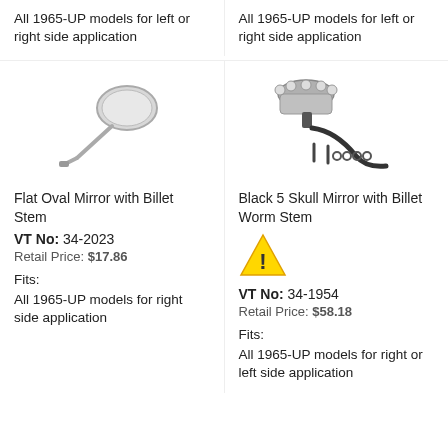All 1965-UP models for left or right side application
All 1965-UP models for left or right side application
[Figure (photo): Flat oval mirror with a billet stem, chrome finish]
[Figure (photo): Black 5 skull mirror with billet worm stem and mounting hardware]
Flat Oval Mirror with Billet Stem
VT No: 34-2023
Retail Price: $17.86
Fits:
All 1965-UP models for right side application
Black 5 Skull Mirror with Billet Worm Stem
[Figure (illustration): Yellow warning triangle with exclamation mark]
VT No: 34-1954
Retail Price: $58.18
Fits:
All 1965-UP models for right or left side application